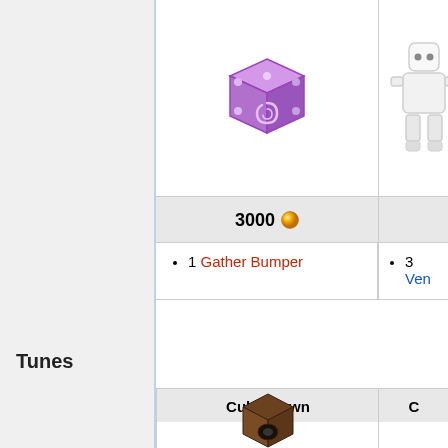[Figure (screenshot): Game wiki page showing items table and Tunes section. Left column shows a purple swirly dice item image, price of 3000 coins, and bullet point '1 Gather Bumper'. Right column partially visible shows a white character figure, and '3 Ven...' text. Below is a 'Tunes' section header with a table showing 'Cubic Town' column header and a brown speaker cube item image.]
Tunes
| Cubic Town | C... |
| --- | --- |
| [image: brown speaker cube] |  |
|  |  |
|  |  |